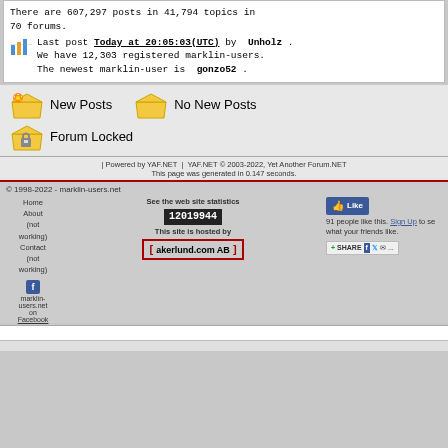There are 607,297 posts in 41,794 topics in 70 forums. Last post Today at 20:05:03(UTC) by Unholz . We have 12,303 registered marklin-users. The newest marklin-user is gonzo52 .
New Posts
No New Posts
Forum Locked
| Powered by YAF.NET | YAF.NET © 2003-2022, Yet Another Forum.NET This page was generated in 0.147 seconds.
© 1998-2022 - marklin-users.net
Home About (not working) Contact (not working)
See the web site statistics 12019944 This site is hosted by akerlund.com AB
91 people like this. Sign Up to se what your friends like.
[Figure (screenshot): SHARE button with Facebook, Twitter, and email icons]